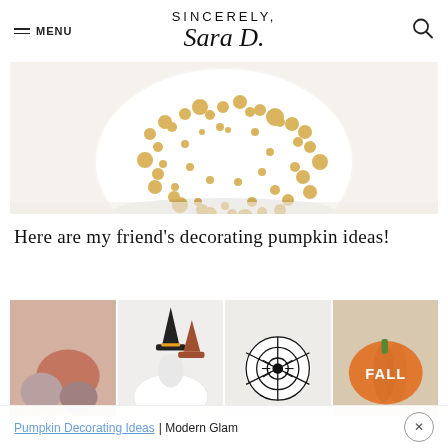SINCERELY, Sara D.
[Figure (photo): Close-up photo of a white pumpkin with gold polka dots on a light background]
Here are my friend's decorating pumpkin ideas!
[Figure (photo): Grid of four pumpkin decorating photos: metallic painted pumpkins, gnome pumpkins, spider web painted pumpkin, orange pumpkin with FALL text]
Pumpkin Decorating Ideas | Modern Glam